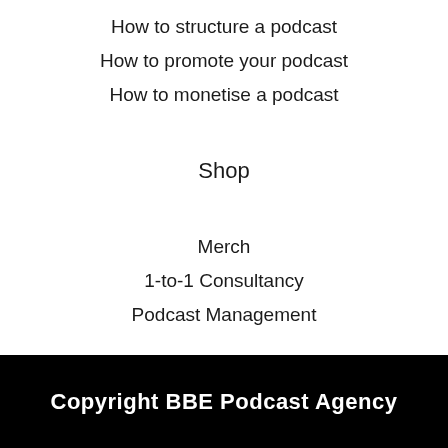How to structure a podcast
How to promote your podcast
How to monetise a podcast
Shop
Merch
1-to-1 Consultancy
Podcast Management
Copyright BBE Podcast Agency